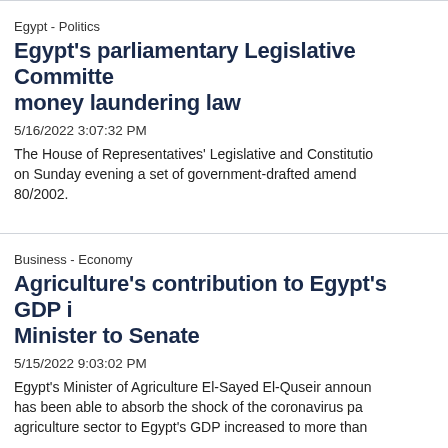Egypt - Politics
Egypt's parliamentary Legislative Committee money laundering law
5/16/2022 3:07:32 PM
The House of Representatives' Legislative and Constitutional Affairs Committee approved on Sunday evening a set of government-drafted amendments to law 80/2002.
Business - Economy
Agriculture's contribution to Egypt's GDP i... Minister to Senate
5/15/2022 9:03:02 PM
Egypt's Minister of Agriculture El-Sayed El-Quseir announced that Egypt has been able to absorb the shock of the coronavirus pandemic, adding that the agriculture sector to Egypt's GDP increased to more than...